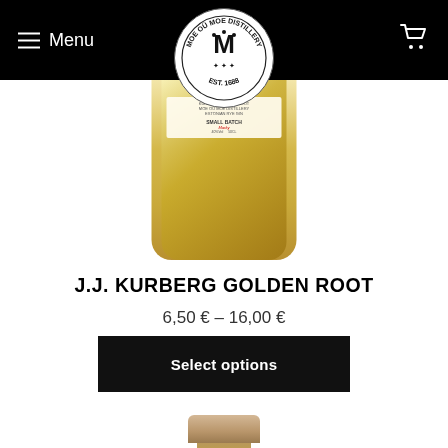Menu | MOE OÜ MOE DISTILLERY EST. 1688
[Figure (photo): Bottom portion of a glass bottle with golden liquid, small batch spirits label visible, on white background]
J.J. KURBERG GOLDEN ROOT
6,50 € – 16,00 €
Select options
[Figure (photo): Top of a second bottle with wooden/cork cap visible at bottom edge of page]